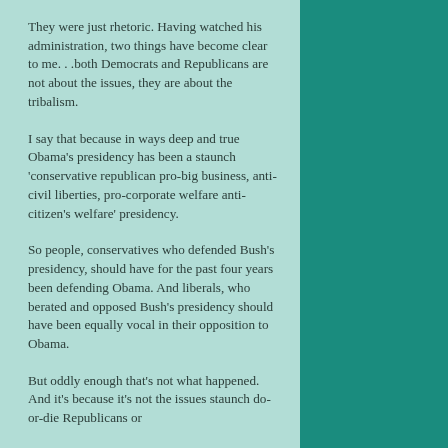They were just rhetoric. Having watched his administration, two things have become clear to me. . .both Democrats and Republicans are not about the issues, they are about the tribalism.
I say that because in ways deep and true Obama's presidency has been a staunch 'conservative republican pro-big business, anti-civil liberties, pro-corporate welfare anti-citizen's welfare' presidency.
So people, conservatives who defended Bush's presidency, should have for the past four years been defending Obama. And liberals, who berated and opposed Bush's presidency should have been equally vocal in their opposition to Obama.
But oddly enough that's not what happened. And it's because it's not the issues staunch do-or-die Republicans or